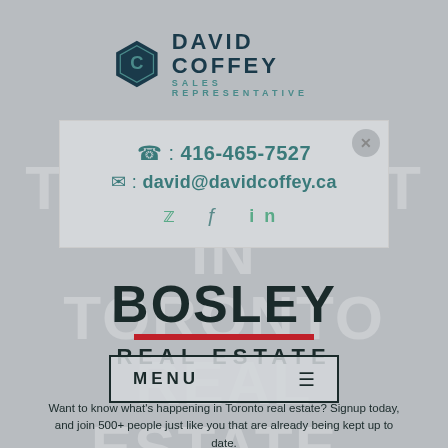[Figure (logo): David Coffey Sales Representative logo with hexagon icon and name]
: 416-465-7527
: david@davidcoffey.ca
[Figure (infographic): Social media icons: Twitter, Facebook, LinkedIn]
[Figure (logo): Bosley Real Estate logo with red underline]
MENU
Want to know what's happening in Toronto real estate? Signup today, and join 500+ people just like you that are already being kept up to date.